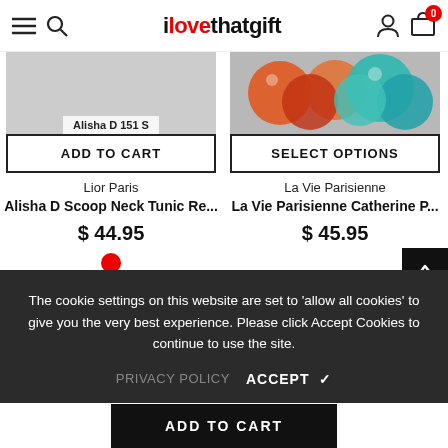ilovethatgift — navigation header with hamburger menu, search, user icon, and cart (0)
Alisha D 151 S
ADD TO CART
SELECT OPTIONS
Lior Paris
La Vie Parisienne
Alisha D Scoop Neck Tunic Re...
La Vie Parisienne Catherine P...
$ 44.95
$ 45.95
The cookie settings on this website are set to 'allow all cookies' to give you the very best experience. Please click Accept Cookies to continue to use the site.
PRIVACY POLICY   ACCEPT ✓
ADD TO CART